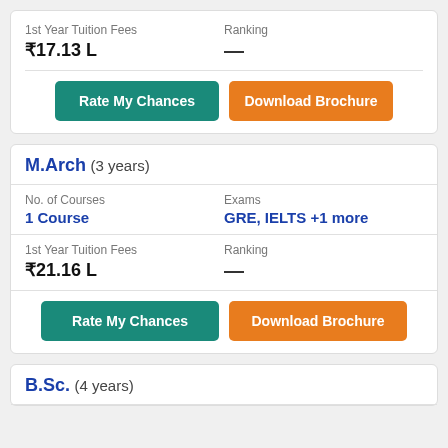1st Year Tuition Fees: ₹17.13 L | Ranking: —
Rate My Chances | Download Brochure
M.Arch (3 years)
No. of Courses: 1 Course | Exams: GRE, IELTS +1 more
1st Year Tuition Fees: ₹21.16 L | Ranking: —
Rate My Chances | Download Brochure
B.Sc. (4 years)